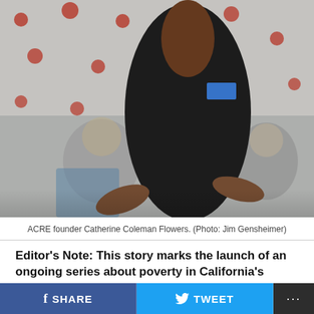[Figure (photo): A Black woman in a black sleeveless top with a blue name tag gestures with her hands while speaking at an event. Blurred attendees are visible in the background against a white wall with red decorative elements.]
ACRE founder Catherine Coleman Flowers. (Photo: Jim Gensheimer)
Editor's Note: This story marks the launch of an ongoing series about poverty in California's heartland. From farming valleys to foothill communities, “the other California” makes ends meet in a time of adversity. Climate-changed weather patterns have contributed to catastrophic droughts and fires, while dwindling job opportunities are depopulating long-established towns. In the months ahead
SHARE   TWEET   ...